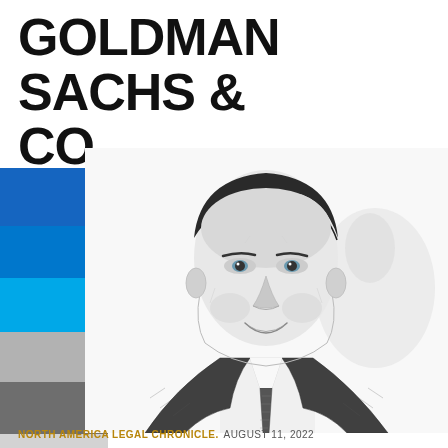GOLDMAN SACHS & CO.
[Figure (illustration): Black and white pencil-style portrait of a man in a suit and tie, smiling, with color bars (blue shades, gray shades) on the left side]
NORTH AMERICA LEGAL CHRONICLE. AUGUST 11, 2022